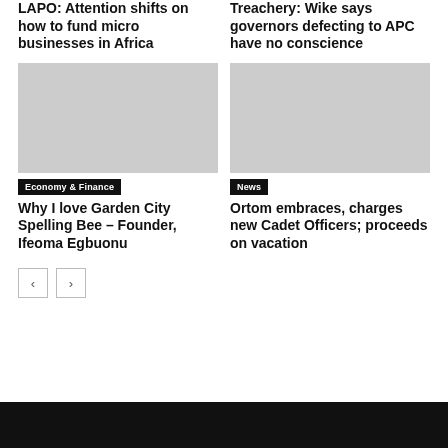LAPO: Attention shifts on how to fund micro businesses in Africa
Treachery: Wike says governors defecting to APC have no conscience
[Figure (photo): Article image placeholder left column]
[Figure (photo): Article image placeholder right column]
Economy & Finance
News
Why I love Garden City Spelling Bee – Founder, Ifeoma Egbuonu
Ortom embraces, charges new Cadet Officers; proceeds on vacation